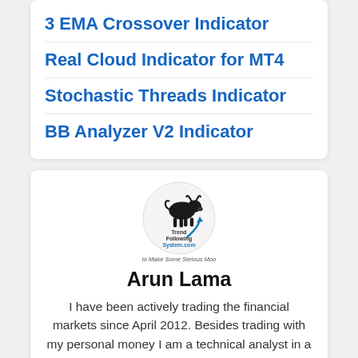3 EMA Crossover Indicator
Real Cloud Indicator for MT4
Stochastic Threads Indicator
BB Analyzer V2 Indicator
[Figure (logo): Trend Following System.com logo with a black bull silhouette and curved arrow, tagline 'to Make Some Serious Moo']
Arun Lama
I have been actively trading the financial markets since April 2012. Besides trading with my personal money I am a technical analyst in a mutual fund that has Rs. 1 billion in